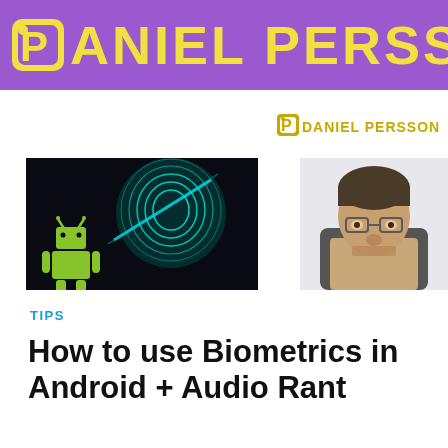DANIEL PERSS
[Figure (logo): Daniel Persson blog logo — yellow P icon with 'DANIEL PERSS' in yellow bold text on purple background]
[Figure (illustration): Daniel Persson small logo text in yellow on white background, top right]
[Figure (photo): Android robot with glowing teal fingerprint scan on dark background]
[Figure (photo): Person sitting in chair, partially visible, looking down, with glasses]
TIPS
How to use Biometrics in Android + Audio Rant